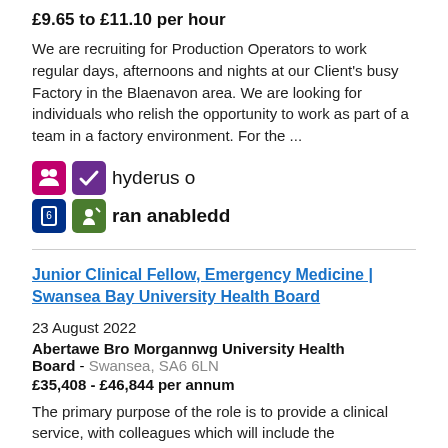£9.65 to £11.10 per hour
We are recruiting for Production Operators to work regular days, afternoons and nights at our Client's busy Factory in the Blaenavon area. We are looking for individuals who relish the opportunity to work as part of a team in a factory environment. For the ...
[Figure (logo): Disability Confident logos with Welsh text 'hyderus o ran anabledd' (disability confident)]
Junior Clinical Fellow, Emergency Medicine | Swansea Bay University Health Board
23 August 2022
Abertawe Bro Morgannwg University Health Board - Swansea, SA6 6LN
£35,408 - £46,844 per annum
The primary purpose of the role is to provide a clinical service, with colleagues which will include the responsibility for prevention, diagnosis and treatment of illness. Have continuing responsibility for the well-being of patients and their journey. This is...